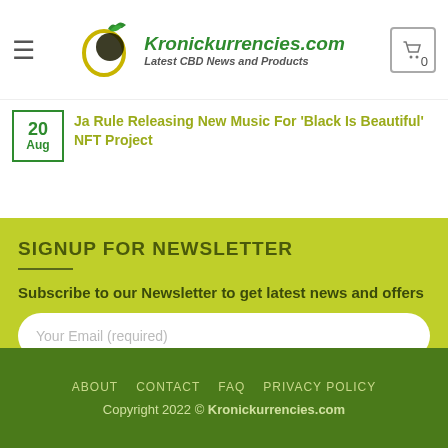Kronickurrencies.com – Latest CBD News and Products
Ja Rule Releasing New Music For 'Black Is Beautiful' NFT Project (20 Aug)
SIGNUP FOR NEWSLETTER
Subscribe to our Newsletter to get latest news and offers
Your Email (required)
SIGN UP
ABOUT  CONTACT  FAQ  PRIVACY POLICY
Copyright 2022 © Kronickurrencies.com